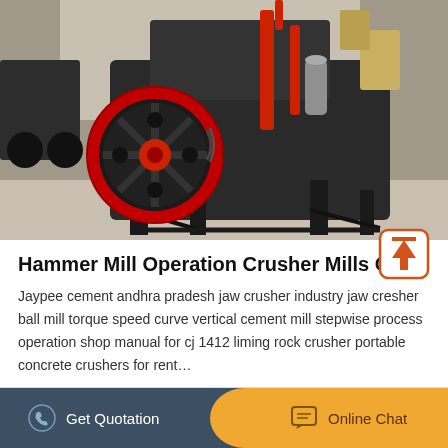[Figure (photo): Industrial hammer mill / cone crusher machine with red flywheel and dark metal frame in a factory/outdoor setting]
Hammer Mill Operation Crusher Mills Co...
Jaypee cement andhra pradesh jaw crusher industry jaw cresher ball mill torque speed curve vertical cement mill stepwise process operation shop manual for cj 1412 liming rock crusher portable concrete crushers for rent…
MORE DETAILS
Get Quotation   Online Chat